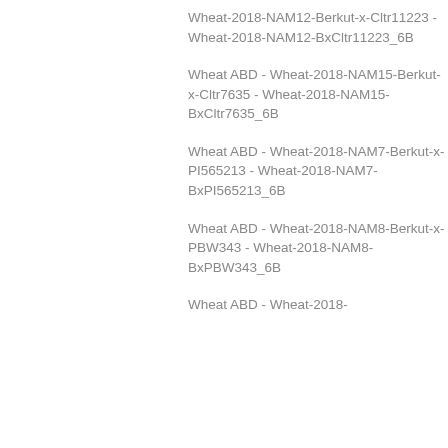Wheat ABD - Wheat-2018-NAM12-Berkut-x-Cltr11223 - Wheat-2018-NAM12-BxCltr11223_6B
Wheat ABD - Wheat-2018-NAM15-Berkut-x-Cltr7635 - Wheat-2018-NAM15-BxCltr7635_6B
Wheat ABD - Wheat-2018-NAM7-Berkut-x-PI565213 - Wheat-2018-NAM7-BxPI565213_6B
Wheat ABD - Wheat-2018-NAM8-Berkut-x-PBW343 - Wheat-2018-NAM8-BxPBW343_6B
Wheat ABD - Wheat-2018-